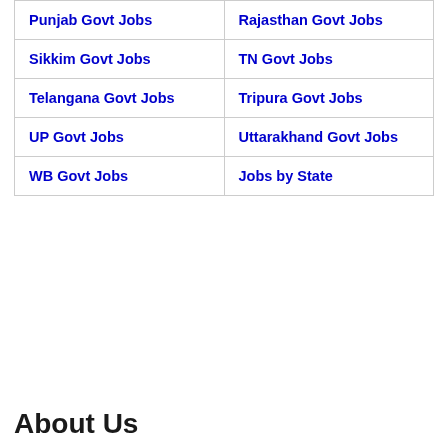| Punjab Govt Jobs | Rajasthan Govt Jobs |
| Sikkim Govt Jobs | TN Govt Jobs |
| Telangana Govt Jobs | Tripura Govt Jobs |
| UP Govt Jobs | Uttarakhand Govt Jobs |
| WB Govt Jobs | Jobs by State |
About Us